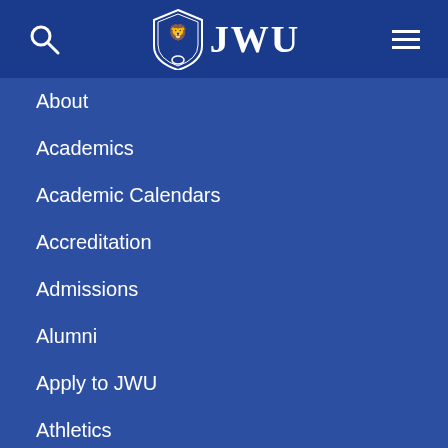JWU navigation header with search and menu icons
About
Academics
Academic Calendars
Accreditation
Admissions
Alumni
Apply to JWU
Athletics
Campuses
Career Services